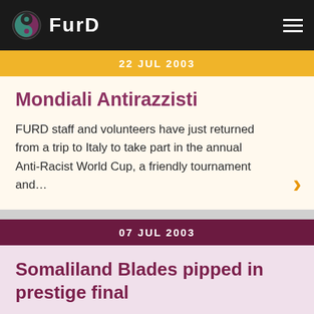FURD
22 JUL 2003
Mondiali Antirazzisti
FURD staff and volunteers have just returned from a trip to Italy to take part in the annual Anti-Racist World Cup, a friendly tournament and...
07 JUL 2003
Somaliland Blades pipped in prestige final
The Somaliland Blades, representing